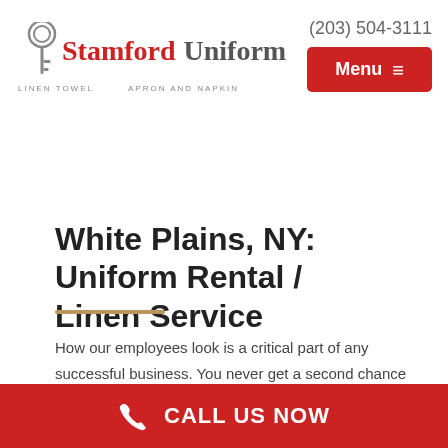[Figure (logo): Stamford Uniform logo with key graphic, text reads 'Stamford Uniform LINEN TOWEL APRON AND NAPKIN']
(203) 504-3111
Menu ≡
White Plains, NY: Uniform Rental / Linen Service
How our employees look is a critical part of any successful business. You never get a second chance to make a good first impression! We at Stamford Uniform and Linen service the
CALL US NOW